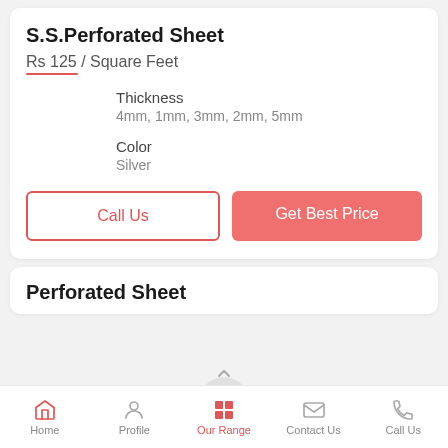S.S.Perforated Sheet
Rs 125 / Square Feet
Thickness
4mm, 1mm, 3mm, 2mm, 5mm
Color
Silver
Call Us
Get Best Price
Perforated Sheet
Home  Profile  Our Range  Contact Us  Call Us